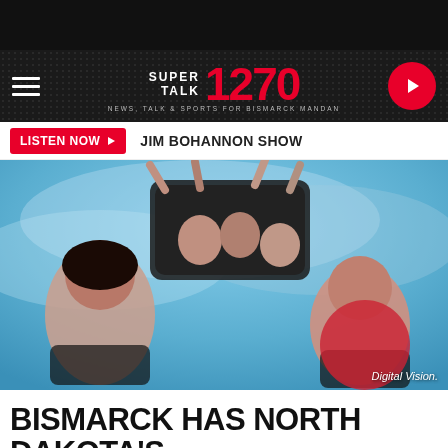[Figure (logo): Super Talk 1270 radio station logo with hamburger menu and play button on dark navigation bar]
LISTEN NOW  JIM BOHANNON SHOW
[Figure (photo): People on a roller coaster ride screaming with excitement against a blue sky background. Digital Vision photo credit.]
BISMARCK HAS NORTH DAKOTA'S